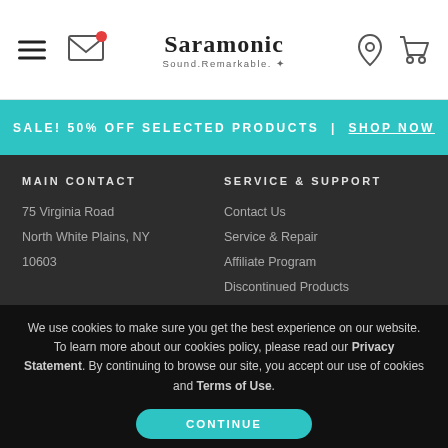Saramonic — Sound.Remarkable.
SALE! 50% OFF SELECTED PRODUCTS | SHOP NOW
MAIN CONTACT
75 Virginia Road
North White Plains, NY
10603
SERVICE & SUPPORT
Contact Us
Service & Repair
Affiliate Program
Discontinued Products
We use cookies to make sure you get the best experience on our website. To learn more about our cookies policy, please read our Privacy Statement. By continuing to browse our site, you accept our use of cookies and Terms of Use.
CONTINUE